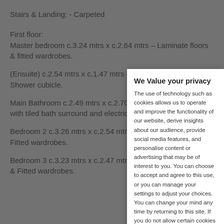Stairs & Landing: - Carpeted
First floor:
Master bedroom c.3.24 mtrs x c.2.64 mtrs – Laminate floors & fitted wardrobes.
(Ensuite) c.2.54 mtrs x c.1.47 mtrs – Tiled floor w.c, w.h.b, Shower cubicle.
Main Bathroom c.2.49 mtrs x c.2.70 mtrs – Tiled floor, bath with tiled bath surround and electric shower, w.c. and w.h.b.
Bedroom 2 c.3.26 mtrs x c.2.54 mtrs – Laminate floors & Fitted wardrobes.
Bedroom 3 c.3.23 mtrs x c.2.47 mtrs– Laminate wood floors & Fitted wardrobes.
We Value your privacy
The use of technology such as cookies allows us to operate and improve the functionality of our website, derive insights about our audience, provide social media features, and personalise content or advertising that may be of interest to you. You can choose to accept and agree to this use, or you can manage your settings to adjust your choices. You can change your mind any time by returning to this site. If you do not allow certain cookies some areas of this site may not function as intended.
I ACCEPT